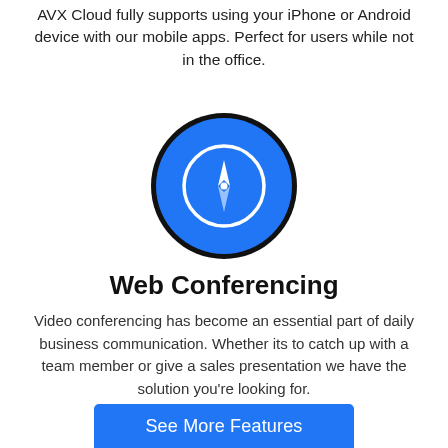AVX Cloud fully supports using your iPhone or Android device with our mobile apps. Perfect for users while not in the office.
[Figure (illustration): Blue circle with a white compass/navigation icon inside, outlined by a dark border ring]
Web Conferencing
Video conferencing has become an essential part of daily business communication. Whether its to catch up with a team member or give a sales presentation we have the solution you’re looking for.
See More Features